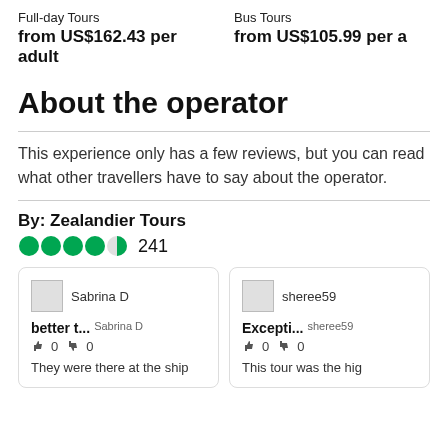Full-day Tours
from US$162.43 per adult
Bus Tours
from US$105.99 per a
About the operator
This experience only has a few reviews, but you can read what other travellers have to say about the operator.
By: Zealandier Tours
241 (rating: 4.5 stars)
Sabrina D
better t... Sabrina D
0  0
They were there at the ship
sheree59
Excepti... sheree59
0  0
This tour was the hig